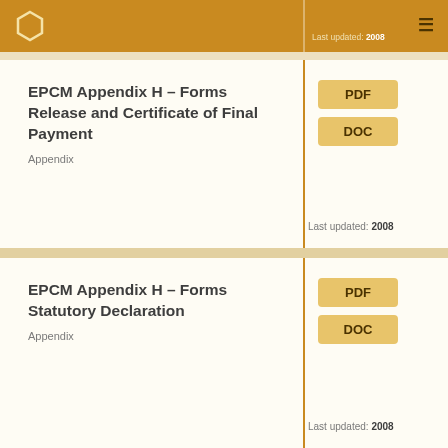Last updated: 2008
EPCM Appendix H – Forms Release and Certificate of Final Payment
Appendix
PDF
DOC
Last updated: 2008
EPCM Appendix H – Forms Statutory Declaration
Appendix
PDF
DOC
Last updated: 2008